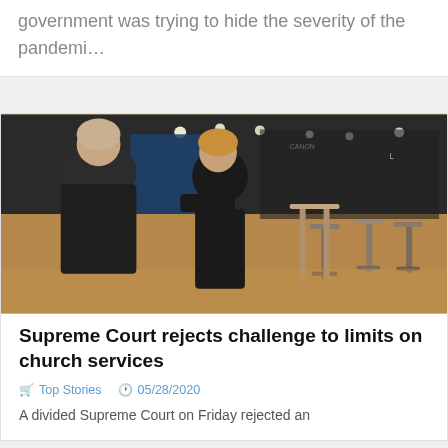government was trying to hide the severity of the pandemi…
[Figure (photo): Two people dressed in dark clothing sitting at a bar-style table in what appears to be an exhibition hall or event venue with bar stools and display booths in the background.]
Supreme Court rejects challenge to limits on church services
🛒 Top Stories  🕐 05/28/2020
A divided Supreme Court on Friday rejected an